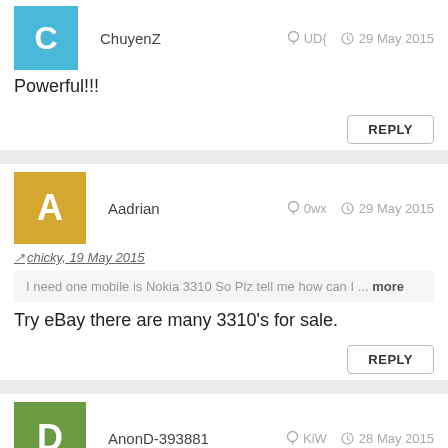ChuyenZ
UD{ 29 May 2015
Powerful!!!
REPLY
Aadrian
0wx 29 May 2015
chicky, 19 May 2015
I need one mobile is Nokia 3310 So Plz tell me how can I... more
Try eBay there are many 3310's for sale.
REPLY
AnonD-393881
KiW 28 May 2015